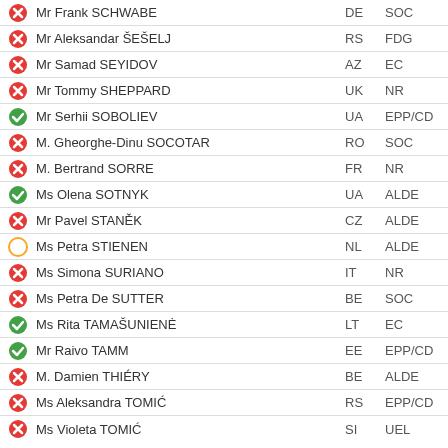Mr Frank SCHWABE | DE | SOC | absent
Mr Aleksandar ŠEŠELJ | RS | FDG | absent
Mr Samad SEYIDOV | AZ | EC | absent
Mr Tommy SHEPPARD | UK | NR | absent
Mr Serhii SOBOLIEV | UA | EPP/CD | present
M. Gheorghe-Dinu SOCOTAR | RO | SOC | absent
M. Bertrand SORRE | FR | NR | absent
Ms Olena SOTNYK | UA | ALDE | present
Mr Pavel STANĚK | CZ | ALDE | absent
Ms Petra STIENEN | NL | ALDE | excused
Ms Simona SURIANO | IT | NR | absent
Ms Petra De SUTTER | BE | SOC | absent
Ms Rita TAMAŠUNIENĖ | LT | EC | present
Mr Raivo TAMM | EE | EPP/CD | present
M. Damien THIÉRY | BE | ALDE | absent
Ms Aleksandra TOMIĆ | RS | EPP/CD | absent
Ms Violeta TOMIĆ | SI | UEL | absent